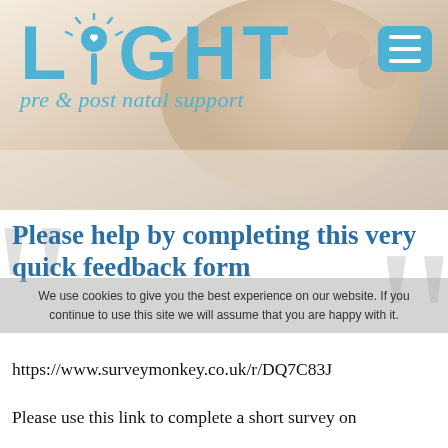[Figure (logo): LIGHT pre & post natal support logo with sun/heart icon and blue text, with baby feet photo background and hamburger menu button]
Please help by completing this very quick feedback form
We use cookies to give you the best experience on our website. If you continue to use this site we will assume that you are happy with it.
https://www.surveymonkey.co.uk/r/DQ7C83J
Please use this link to complete a short survey on